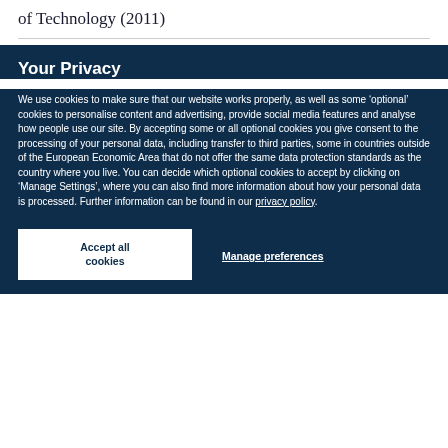of Technology (2011)
Your Privacy
We use cookies to make sure that our website works properly, as well as some ‘optional’ cookies to personalise content and advertising, provide social media features and analyse how people use our site. By accepting some or all optional cookies you give consent to the processing of your personal data, including transfer to third parties, some in countries outside of the European Economic Area that do not offer the same data protection standards as the country where you live. You can decide which optional cookies to accept by clicking on ‘Manage Settings’, where you can also find more information about how your personal data is processed. Further information can be found in our privacy policy.
Accept all cookies
Manage preferences